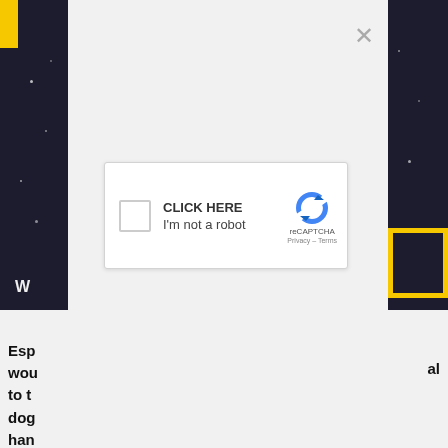[Figure (screenshot): Screenshot of a webpage with a reCAPTCHA modal overlay. The background shows a National Geographic-style webpage with dark photo strips on left and right edges. Center shows a light gray modal with a close X button and a reCAPTCHA widget containing a checkbox, 'CLICK HERE / I'm not a robot' text, reCAPTCHA logo, and 'Privacy - Terms' links. Below the modal, partially visible article text is shown.]
Esp
wou
to t
dog
han
wit
mig
al
its